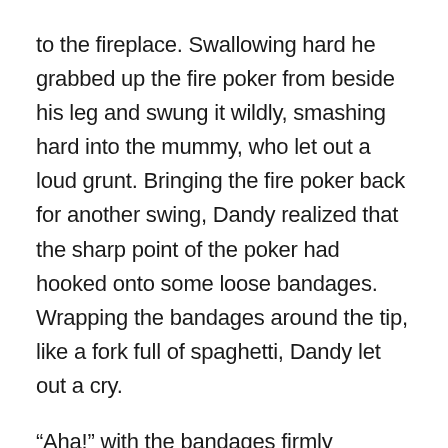to the fireplace. Swallowing hard he grabbed up the fire poker from beside his leg and swung it wildly, smashing hard into the mummy, who let out a loud grunt. Bringing the fire poker back for another swing, Dandy realized that the sharp point of the poker had hooked onto some loose bandages. Wrapping the bandages around the tip, like a fork full of spaghetti, Dandy let out a cry.
“Aha!” with the bandages firmly wrapped around the poker, he launched the tip of the tool into the lit fireplace. At first the flames crawled up the bandages slowly, making their way up the arm, then it began to spread quickly, consuming the body and the head. Now in the blink of an eye the mummy was completely engulfed by flames.
“Ah! Amon!” yelled Lazlo, gripping the amulet tightly